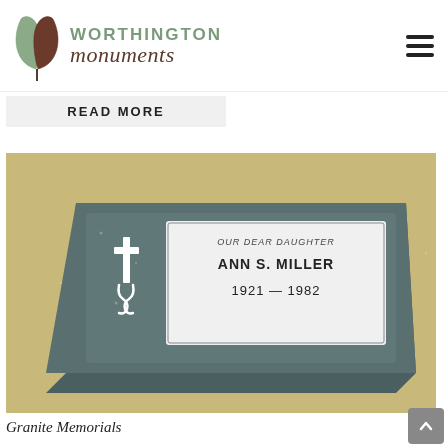[Figure (logo): Worthington Monuments logo with leaf/acorn graphic and stylized text]
READ MORE
[Figure (photo): A dark granite flat memorial marker with cross engraving and inscription reading: OUR DEAR DAUGHTER ANN S. MILLER 1921 — 1982]
Granite Memorials